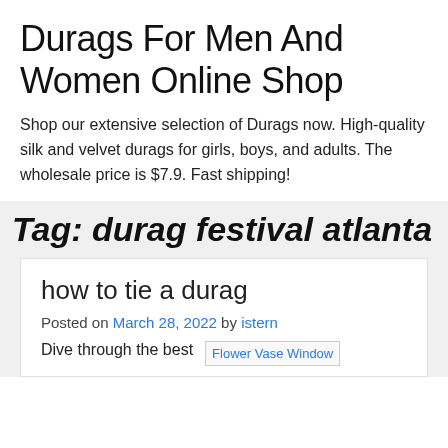Durags For Men And Women Online Shop
Shop our extensive selection of Durags now. High-quality silk and velvet durags for girls, boys, and adults. The wholesale price is $7.9. Fast shipping!
Tag: durag festival atlanta
how to tie a durag
Posted on March 28, 2022 by istern
Dive through the best
[Figure (photo): Flower Vase Window image placeholder]